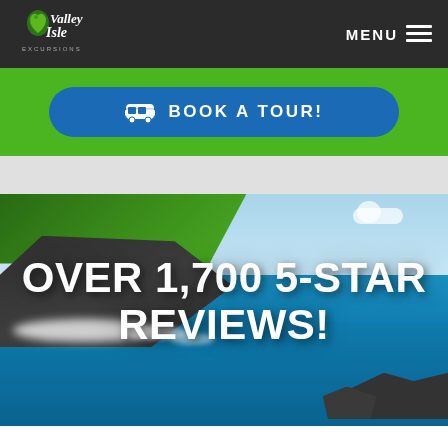[Figure (logo): Valley Isle Excursions logo with green heart/leaf icon and stylized script text]
MENU
[Figure (screenshot): Blue rounded button with bus icon and text BOOK A TOUR! on green banner background]
[Figure (photo): Coastal Hawaii scene with turquoise ocean, lava rock cliffs, and green vegetation]
OVER 1,700 5-STAR REVIEWS!